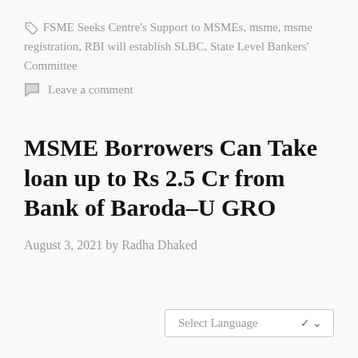🏷 FSME Seeks Centre's Support to MSMEs, msme, msme registration, RBI will establish SLBC, State Level Bankers' Committee
💬 Leave a comment
MSME Borrowers Can Take loan up to Rs 2.5 Cr from Bank of Baroda–U GRO
August 3, 2021 by Radha Dhaked
Select Language